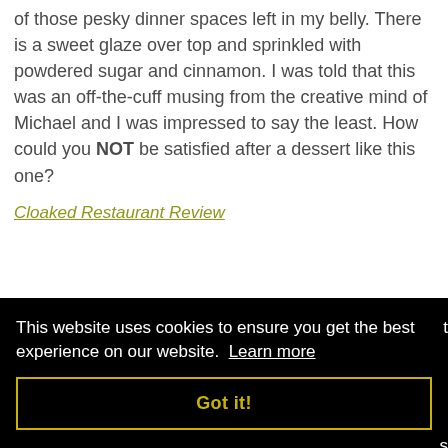of those pesky dinner spaces left in my belly. There is a sweet glaze over top and sprinkled with powdered sugar and cinnamon. I was told that this was an off-the-cuff musing from the creative mind of Michael and I was impressed to say the least. How could you NOT be satisfied after a dessert like this one?
Cloaked Restaurant Review
This website uses cookies to ensure you get the best experience on our website. Learn more
Got it!